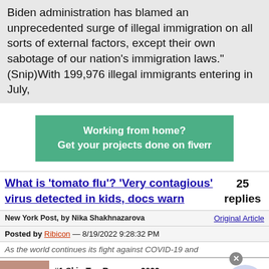Biden administration has blamed an unprecedented surge of illegal immigration on all sorts of external factors, except their own sabotage of our nation's immigration laws."(Snip)With 199,976 illegal immigrants entering in July,
[Figure (infographic): Green Fiverr advertisement banner: 'Working from home? Get your projects done on fiverr']
What is 'tomato flu'? 'Very contagious' virus detected in kids, docs warn
25 replies
New York Post, by Nika Shakhnazarova   Original Article
Posted by Ribicon — 8/19/2022 9:28:32 PM
As the world continues its fight against COVID-19 and
[Figure (infographic): Advertisement: #1 Skin Tag Remover 2022. Completely and Permanently Remove The Blemish Within Hours. naturalhealthcures.net. Shows skin close-up image and navigation arrow button.]